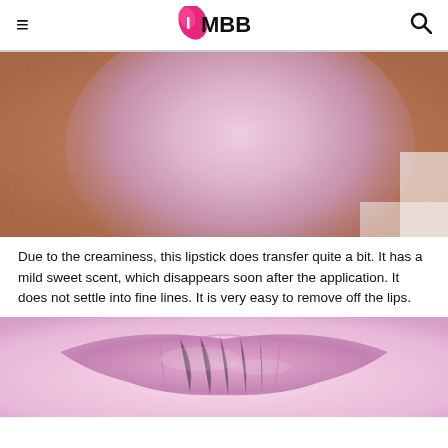IMBB
[Figure (photo): Close-up photo of a pink/mauve lipstick swatch swatched on a medium-tan skin (wrist/hand), showing the texture and shimmer of the product against skin.]
Due to the creaminess, this lipstick does transfer quite a bit. It has a mild sweet scent, which disappears soon after the application. It does not settle into fine lines. It is very easy to remove off the lips.
[Figure (photo): Close-up macro photo of lips wearing a pink/mauve shimmery lipstick, showing the texture and color on the lips.]